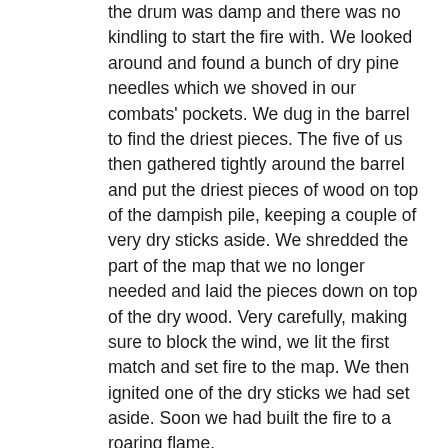the drum was damp and there was no kindling to start the fire with. We looked around and found a bunch of dry pine needles which we shoved in our combats' pockets. We dug in the barrel to find the driest pieces. The five of us then gathered tightly around the barrel and put the driest pieces of wood on top of the dampish pile, keeping a couple of very dry sticks aside. We shredded the part of the map that we no longer needed and laid the pieces down on top of the dry wood. Very carefully, making sure to block the wind, we lit the first match and set fire to the map. We then ignited one of the dry sticks we had set aside. Soon we had built the fire to a roaring flame.
We forgot about being tracked and enjoyed the heat. While the three of us were yapping, the other two guys secured two long sticks which they used to drag the raft to shore without having to get wet. Someone soon took care of the rabbits. Using the sticks as makeshift spits, we roasted the rabbits and the chicken over the steel drum. Roasted meat with soot and wood ash as